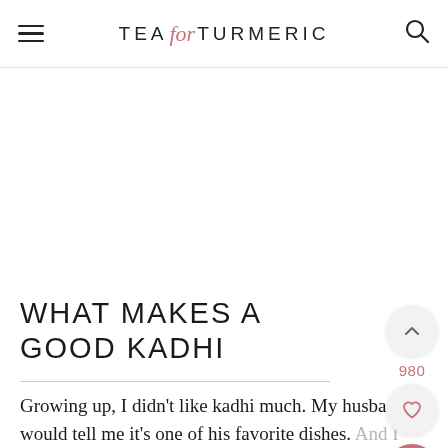TEA for TURMERIC
WHAT MAKES A GOOD KADHI
Growing up, I didn't like kadhi much. My husband would tell me it's one of his favorite dishes. And I remained perplexed until the day I came across the kadhi that was source of his